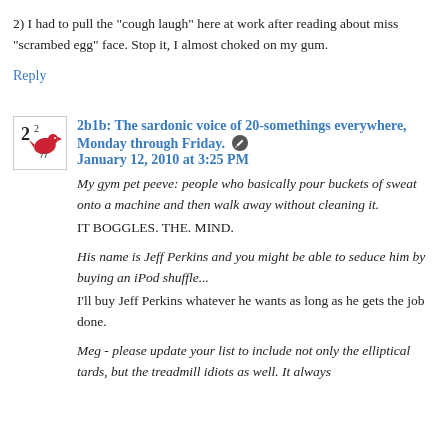2) I had to pull the "cough laugh" here at work after reading about miss "scrambed egg" face. Stop it, I almost choked on my gum.
Reply
2b1b: The sardonic voice of 20-somethings everywhere, Monday through Friday. January 12, 2010 at 3:25 PM
My gym pet peeve: people who basically pour buckets of sweat onto a machine and then walk away without cleaning it.
IT BOGGLES. THE. MIND.
His name is Jeff Perkins and you might be able to seduce him by buying an iPod shuffle...
I'll buy Jeff Perkins whatever he wants as long as he gets the job done.
Meg - please update your list to include not only the elliptical tards, but the treadmill idiots as well. It always